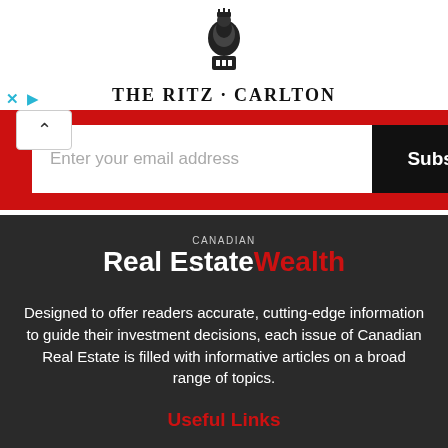[Figure (logo): The Ritz-Carlton lion crest heraldic logo emblem]
THE RITZ-CARLTON YACHT COLLECTION
[Figure (screenshot): Email subscription bar with red background, white email input box reading 'Enter your email address', and black 'Subscribe Now' button]
[Figure (logo): Canadian Real Estate Wealth logo — 'CANADIAN' in small caps above 'Real Estate' in white bold and 'Wealth' in red bold]
Designed to offer readers accurate, cutting-edge information to guide their investment decisions, each issue of Canadian Real Estate is filled with informative articles on a broad range of topics.
Useful Links